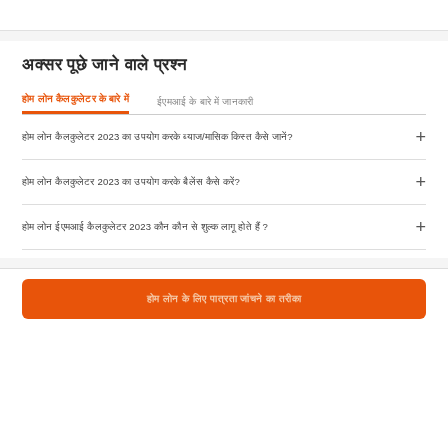अक्सर पूछे जाने वाले प्रश्न
होम लोन कैलकुलेटर के बारे में | ईएमआई के बारे में
होम लोन कैलकुलेटर 2023 का उपयोग करके ब्याज/मासिक किस्त कैसे जानें?
होम लोन कैलकुलेटर 2023 का उपयोग करके बैलेंस कैसे करें?
होम लोन ईएमआई कैलकुलेटर 2023 कौन कौन से शुल्क लागू होते हैं ?
होम लोन के लिए पात्रता जांचने का तरीका